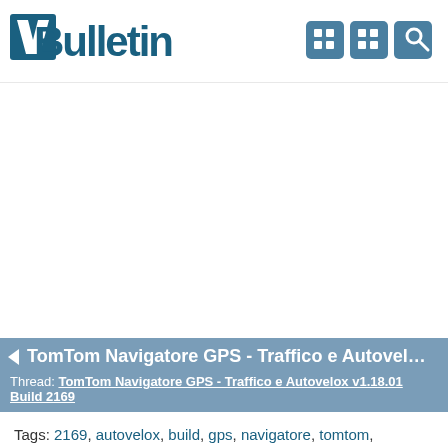[Figure (logo): vBulletin logo with stylized 'vB' monogram and word 'Bulletin' in teal/dark blue]
[Figure (screenshot): Three icon buttons in the top right header area: two grid/menu icons and one magnifying glass/search icon, all on a steel blue rounded rectangle background]
TomTom Navigatore GPS - Traffico e Autovelox v...
Thread: TomTom Navigatore GPS - Traffico e Autovelox v1.18.01 Build 2169
Tags: 2169, autovelox, build, gps, navigatore, tomtom,